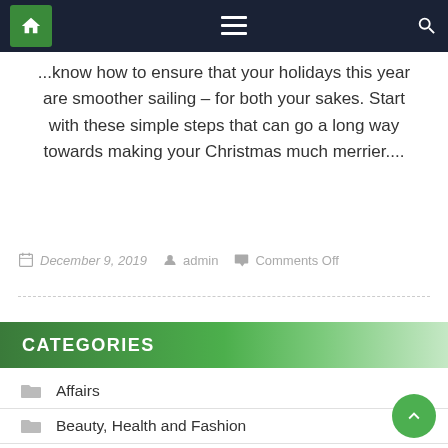Navigation bar with home, menu, and search icons
...know how to ensure that your holidays this year are smoother sailing – for both your sakes. Start with these simple steps that can go a long way towards making your Christmas much merrier....
December 9, 2019   admin   Comments Off
CATEGORIES
Affairs
Beauty, Health and Fashion
Dating
Relationship Advice